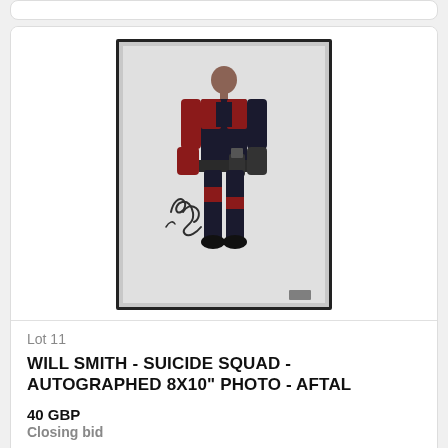[Figure (photo): Autographed 8x10 photo of Will Smith as Deadshot from Suicide Squad, showing full body shot in black and red suit with signature on the photo, displayed in a dark frame.]
Lot 11
WILL SMITH - SUICIDE SQUAD - AUTOGRAPHED 8X10" PHOTO - AFTAL
40 GBP
Closing bid
VIEW
Lot closed